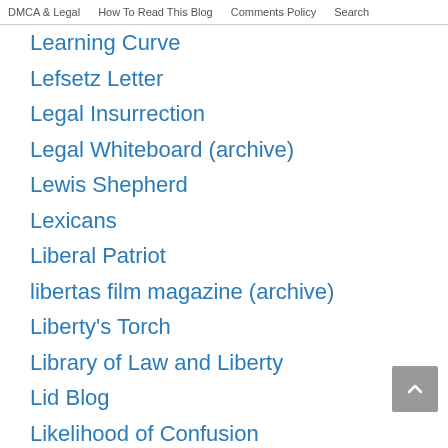DMCA & Legal   How To Read This Blog   Comments Policy   Search
Learning Curve
Lefsetz Letter
Legal Insurrection
Legal Whiteboard (archive)
Lewis Shepherd
Lexicans
Liberal Patriot
libertas film magazine (archive)
Liberty's Torch
Library of Law and Liberty
Lid Blog
Likelihood of Confusion
Lileks